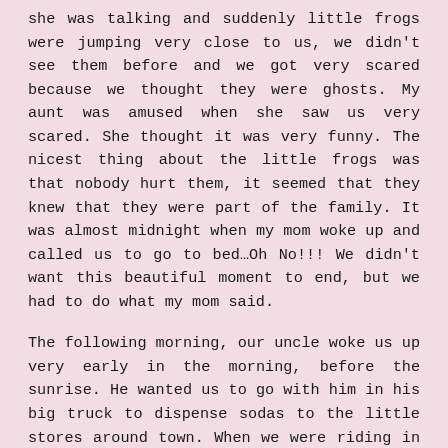she was talking and suddenly little frogs were jumping very close to us, we didn't see them before and we got very scared because we thought they were ghosts. My aunt was amused when she saw us very scared. She thought it was very funny. The nicest thing about the little frogs was that nobody hurt them, it seemed that they knew that they were part of the family. It was almost midnight when my mom woke up and called us to go to bed…Oh No!!! We didn't want this beautiful moment to end, but we had to do what my mom said.
The following morning, our uncle woke us up very early in the morning, before the sunrise. He wanted us to go with him in his big truck to dispense sodas to the little stores around town. When we were riding in my uncle's truck it was still dark, and little by little the sunrise showed up, the cool breeze on our faces was a very nice experience. That was one of the most beautiful mornings I have ever had. Although my uncle was very serious and didn't like to talk too much, he made us feel very important taking us with him. The trip to dispense sodas took us at least 3 hours, when we came back, my granny and mom had the breakfast ready and waiting for us to eat together.
After we finished eating breakfast, my grandma asked us to help her